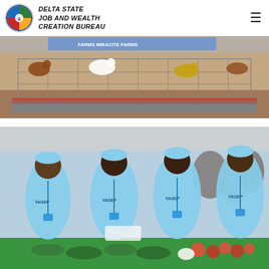DELTA STATE JOB AND WEALTH CREATION BUREAU
[Figure (photo): Chickens and poultry birds in wire cages at an agricultural fair or market, with banners reading 'FARMS' and 'MIRACITE FARMS' visible in the background]
[Figure (photo): Group of young people wearing light blue YAGEP polo shirts and caps, standing at a market stall with vegetables including cucumbers and tomatoes displayed on a table. They are wearing lanyards with ID badges at what appears to be an agricultural exhibition.]